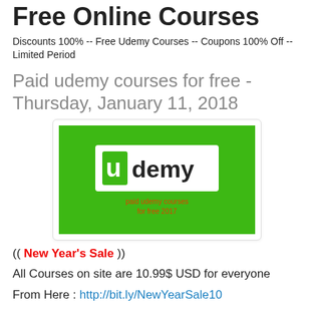Free Online Courses
Discounts 100% -- Free Udemy Courses -- Coupons 100% Off -- Limited Period
Paid udemy courses for free - Thursday, January 11, 2018
[Figure (logo): Udemy logo on green background with text 'paid udemy courses for free 2017']
(( New Year's Sale )) All Courses on site are 10.99$ USD for everyone From Here : http://bit.ly/NewYearSale10